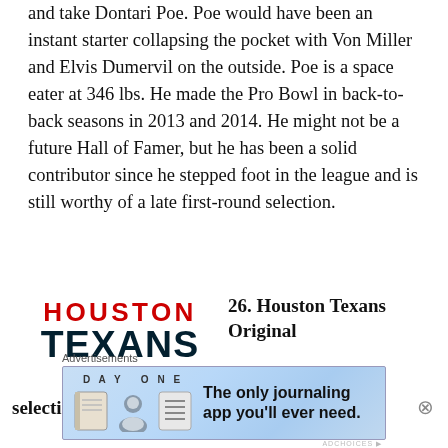and take Dontari Poe. Poe would have been an instant starter collapsing the pocket with Von Miller and Elvis Dumervil on the outside. Poe is a space eater at 346 lbs. He made the Pro Bowl in back-to-back seasons in 2013 and 2014. He might not be a future Hall of Famer, but he has been a solid contributor since he stepped foot in the league and is still worthy of a late first-round selection.
[Figure (logo): Houston Texans NFL team logo with HOUSTON text in red and TEXANS in dark navy bold letters]
26. Houston Texans Original selection: Whitney Mercilus, EDGE, Illinois
[Figure (other): Advertisement: DAY ONE journaling app — The only journaling app you'll ever need.]